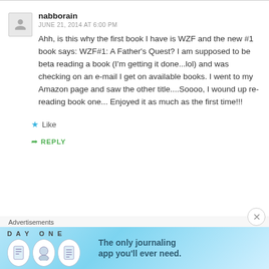nabborain
JUNE 21, 2014 AT 6:00 PM
Ahh, is this why the first book I have is WZF and the new #1 book says: WZF#1: A Father's Quest? I am supposed to be beta reading a book (I'm getting it done...lol) and was checking on an e-mail I get on available books. I went to my Amazon page and saw the other title....Soooo, I wound up re-reading book one... Enjoyed it as much as the first time!!!
Like
REPLY
Advertisements
[Figure (infographic): Day One journaling app advertisement banner with icons and tagline 'The only journaling app you'll ever need.']